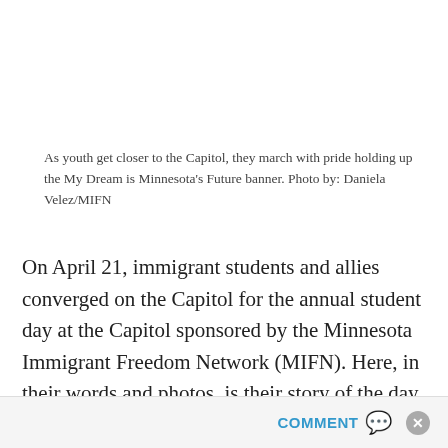As youth get closer to the Capitol, they march with pride holding up the My Dream is Minnesota's Future banner. Photo by: Daniela Velez/MIFN
On April 21, immigrant students and allies converged on the Capitol for the annual student day at the Capitol sponsored by the Minnesota Immigrant Freedom Network (MIFN). Here, in their words and photos, is their story of the day.
David, a 16 year-old Latino student leader from Minneapolis, who has been active in Student Day at
COMMENT ✉ ✕